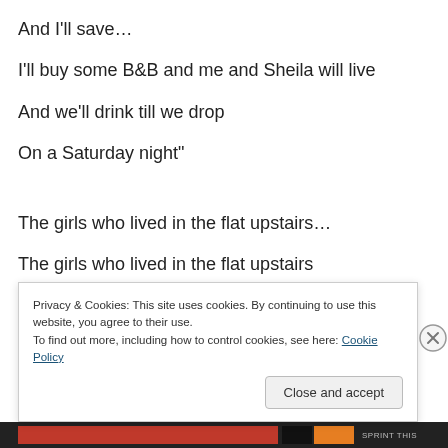And I'll save…
I'll buy some B&B and me and Sheila will live
And we'll drink till we drop
On a Saturday night"
The girls who lived in the flat upstairs…
The girls who lived in the flat upstairs
Privacy & Cookies: This site uses cookies. By continuing to use this website, you agree to their use.
To find out more, including how to control cookies, see here: Cookie Policy
Close and accept